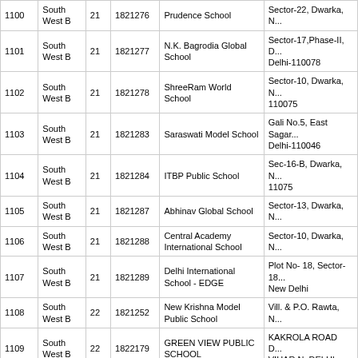| S.No. | District | Ward No. | School Code | School Name | Address |
| --- | --- | --- | --- | --- | --- |
| 1100 | South West B | 21 | 1821276 | Prudence School | Sector-22, Dwarka, N... |
| 1101 | South West B | 21 | 1821277 | N.K. Bagrodia Global School | Sector-17,Phase-II, D... Delhi-110078 |
| 1102 | South West B | 21 | 1821278 | ShreeRam World School | Sector-10, Dwarka, N... 110075 |
| 1103 | South West B | 21 | 1821283 | Saraswati Model School | Gali No.5, East Sagar... Delhi-110046 |
| 1104 | South West B | 21 | 1821284 | ITBP Public School | Sec-16-B, Dwarka, N... 11075 |
| 1105 | South West B | 21 | 1821287 | Abhinav Global School | Sector-13, Dwarka, N... |
| 1106 | South West B | 21 | 1821288 | Central Academy International School | Sector-10, Dwarka, N... |
| 1107 | South West B | 21 | 1821289 | Delhi International School - EDGE | Plot No- 18, Sector-18... New Delhi |
| 1108 | South West B | 22 | 1821252 | New Krishna Model Public School | Vill. & P.O. Rawta, N... |
| 1109 | South West B | 22 | 1822179 | GREEN VIEW PUBLIC SCHOOL | KAKROLA ROAD D... VIHAR N. DELHI |
| 1110 | South West B | 22 | 1822182 | GOODWILL PUBLIC SCHOOL | Surakhpur More, Naja... Delhi-110043 |
| 1111 | South West B | 22 | 1822184 | MATA CHANDRO DEVI MODEL SCHOOL | RJ - 23 R ROSHAN P... COLONY, NAJAFGR... DELHI -110043 |
| 1112 | South West B | 22 | 1822185 | OXFORD FOUNDATION SCHOOL | A-396-397, Gopal Na... Najafgarh, N.Delhi-43... |
| 1113 | South West B | 22 | 1822186 | SHRI GURU RAM RAI PUBLIC SCHOOL | Dhanis Road, Najafga... Delhi-43 |
| 1114 | South | 22 | 1822187 | EVER GREEN PUBLIC | Vinoba Enclave, CRP... |